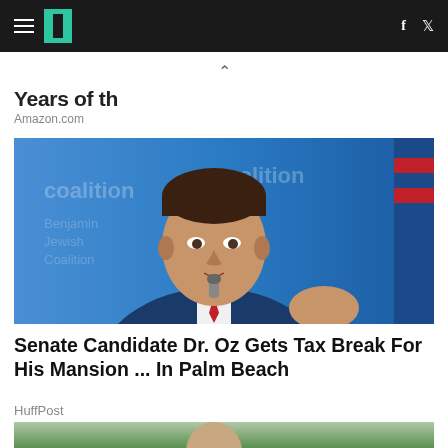HuffPost navigation bar with hamburger menu, logo, Facebook and Twitter icons
Years of th
Amazon.com
[Figure (photo): Photo of Dr. Oz speaking at a podium with a blue background banner, wearing a navy suit and red tie, holding a microphone]
Senate Candidate Dr. Oz Gets Tax Break For His Mansion ... In Palm Beach
HuffPost
[Figure (photo): Partial photo of another person outdoors with trees in background]